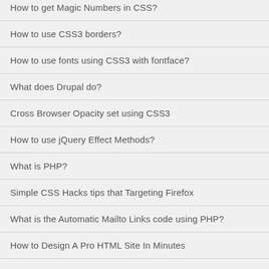How to get Magic Numbers in CSS?
How to use CSS3 borders?
How to use fonts using CSS3 with fontface?
What does Drupal do?
Cross Browser Opacity set using CSS3
How to use jQuery Effect Methods?
What is PHP?
Simple CSS Hacks tips that Targeting Firefox
What is the Automatic Mailto Links code using PHP?
How to Design A Pro HTML Site In Minutes